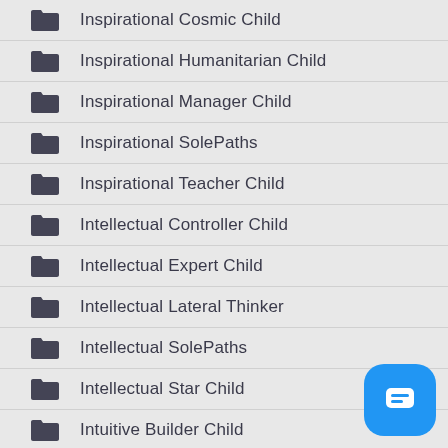Inspirational Cosmic Child
Inspirational Humanitarian Child
Inspirational Manager Child
Inspirational SolePaths
Inspirational Teacher Child
Intellectual Controller Child
Intellectual Expert Child
Intellectual Lateral Thinker
Intellectual SolePaths
Intellectual Star Child
Intuitive Builder Child